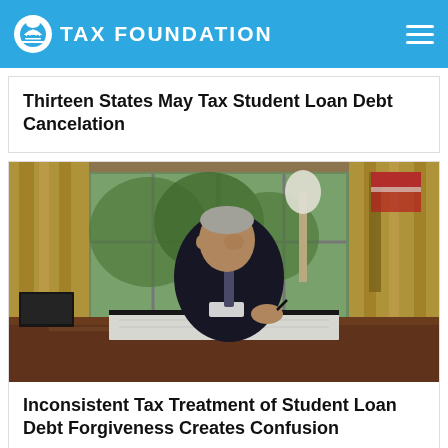TAX FOUNDATION
Thirteen States May Tax Student Loan Debt Cancelation
[Figure (photo): A person in a dark suit signing documents at a large wooden desk in an official office setting with golden curtains and flags in the background.]
Inconsistent Tax Treatment of Student Loan Debt Forgiveness Creates Confusion